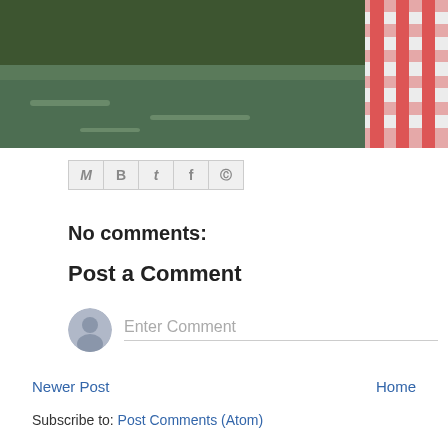[Figure (photo): Partial photo showing a river or creek with green trees/foliage in the background on the left, and a person wearing a red and white checkered/gingham dress on the right side. The image is cropped at the top.]
[Figure (other): Social share icon bar with icons for Gmail (M), Blogger (B), Twitter (t), Facebook (f), and Pinterest (circle P), displayed in a row with borders.]
No comments:
Post a Comment
[Figure (other): Comment input area with a circular user avatar icon on the left and an 'Enter Comment' placeholder text input field with a bottom border on the right.]
Newer Post
Home
Subscribe to: Post Comments (Atom)